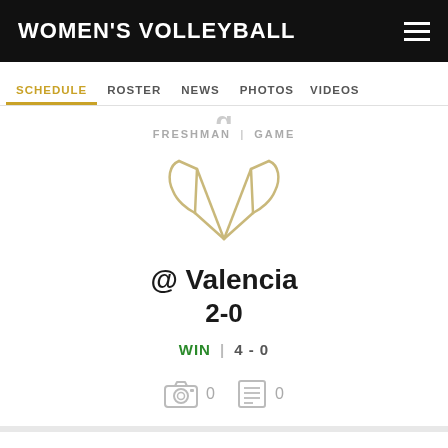WOMEN'S VOLLEYBALL
SCHEDULE | ROSTER | NEWS | PHOTOS | VIDEOS
FRESHMAN | GAME
[Figure (logo): Team logo: stylized V or bull horns shape in gold/tan outline]
@ Valencia
2-0
WIN | 4 - 0
0  0
Aug 25